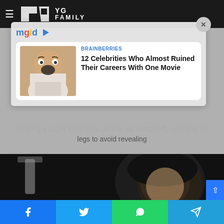YG FAMILY
[Figure (screenshot): MGID advertisement overlay card showing 'BRAINBERRIES: 12 Celebrities Who Almost Ruined Their Careers With One Movie' with a thumbnail of a surprised man]
Wearing a super short skirt, Jennie sat confusedly crossing her legs to avoid revealing
[Figure (photo): Dark background photo of a young woman (Jennie) at what appears to be a formal event, with a hand holding something near her]
Social share buttons: Facebook, Twitter, WhatsApp, Telegram